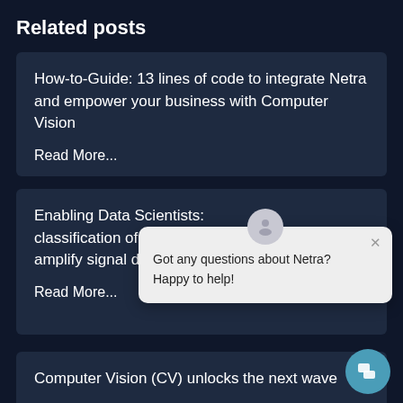Related posts
How-to-Guide: 13 lines of code to integrate Netra and empower your business with Computer Vision

Read More...
Enabling Data Scie... classification of co... amplify signal data...

Read More...
[Figure (screenshot): Chat popup overlay with avatar icon, close button, and text: Got any questions about Netra? Happy to help!]
Computer Vision (CV) unlocks the next wave